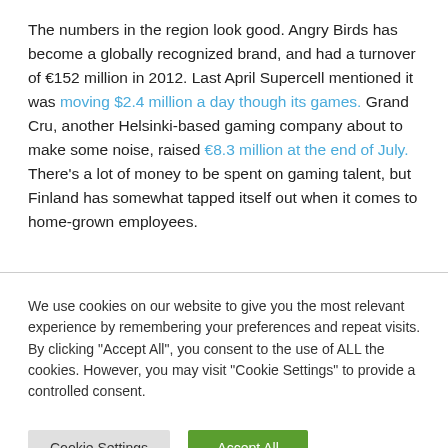The numbers in the region look good. Angry Birds has become a globally recognized brand, and had a turnover of €152 million in 2012. Last April Supercell mentioned it was moving $2.4 million a day though its games. Grand Cru, another Helsinki-based gaming company about to make some noise, raised €8.3 million at the end of July. There's a lot of money to be spent on gaming talent, but Finland has somewhat tapped itself out when it comes to home-grown employees.
We use cookies on our website to give you the most relevant experience by remembering your preferences and repeat visits. By clicking "Accept All", you consent to the use of ALL the cookies. However, you may visit "Cookie Settings" to provide a controlled consent.